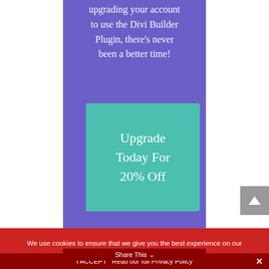upgrading your account to use the Divi Builder Plugin, there's never been a better time!
[Figure (other): Teal call-to-action button with text 'Upgrade Today For 20% Off']
We use cookies to ensure that we give you the best experience on our website.
I ACCEPT   Read our full Privacy Policy
Share This